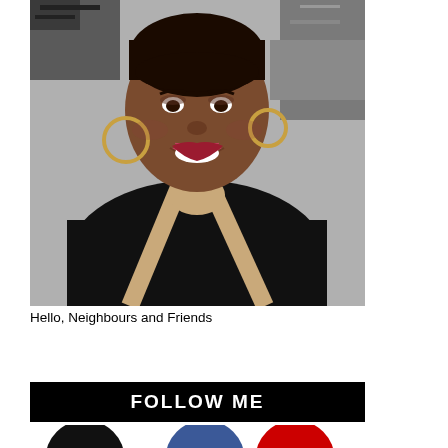[Figure (photo): A smiling woman wearing a black top and a tan/beige leather apron, with large hoop earrings, posing in front of a graffiti-covered brick wall background.]
Hello, Neighbours and Friends
FOLLOW ME
[Figure (illustration): Three circular social media icons at the bottom: black circle, blue circle, and red circle.]